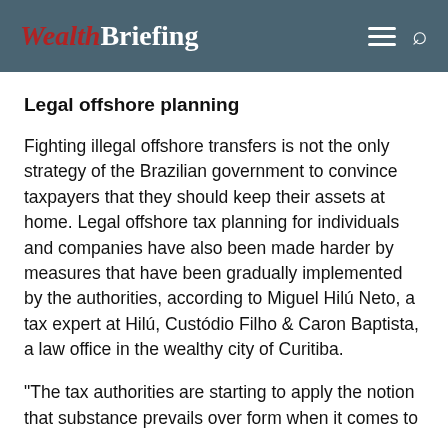WealthBriefing
Legal offshore planning
Fighting illegal offshore transfers is not the only strategy of the Brazilian government to convince taxpayers that they should keep their assets at home. Legal offshore tax planning for individuals and companies have also been made harder by measures that have been gradually implemented by the authorities, according to Miguel Hilú Neto, a tax expert at Hilú, Custódio Filho & Caron Baptista, a law office in the wealthy city of Curitiba.
"The tax authorities are starting to apply the notion that substance prevails over form when it comes to